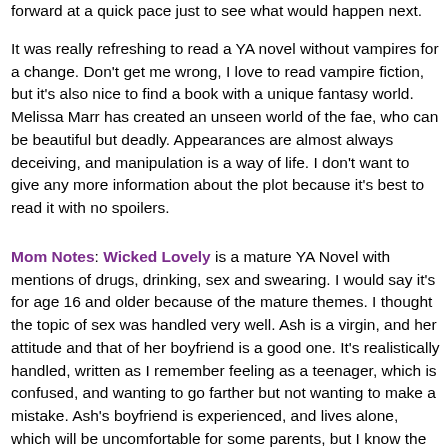forward at a quick pace just to see what would happen next.
It was really refreshing to read a YA novel without vampires for a change. Don't get me wrong, I love to read vampire fiction, but it's also nice to find a book with a unique fantasy world. Melissa Marr has created an unseen world of the fae, who can be beautiful but deadly. Appearances are almost always deceiving, and manipulation is a way of life. I don't want to give any more information about the plot because it's best to read it with no spoilers.
Mom Notes: Wicked Lovely is a mature YA Novel with mentions of drugs, drinking, sex and swearing. I would say it's for age 16 and older because of the mature themes. I thought the topic of sex was handled very well. Ash is a virgin, and her attitude and that of her boyfriend is a good one. It's realistically handled, written as I remember feeling as a teenager, which is confused, and wanting to go farther but not wanting to make a mistake. Ash's boyfriend is experienced, and lives alone, which will be uncomfortable for some parents, but I know the situation is not an uncommon one. I always recommend that parents read books along with their kids (before or after they do), so they can discuss it with